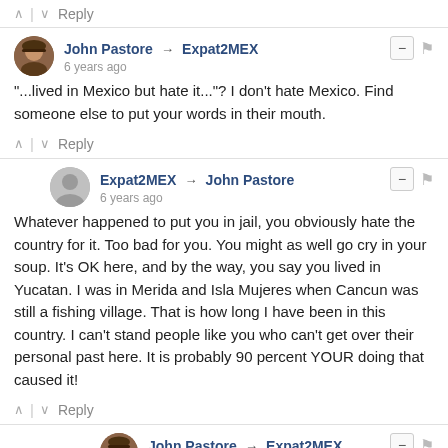∧ | ∨ Reply
John Pastore → Expat2MEX
6 years ago
"...lived in Mexico but hate it..."? I don't hate Mexico. Find someone else to put your words in their mouth.
∧ | ∨ Reply
Expat2MEX → John Pastore
6 years ago
Whatever happened to put you in jail, you obviously hate the country for it. Too bad for you. You might as well go cry in your soup. It's OK here, and by the way, you say you lived in Yucatan. I was in Merida and Isla Mujeres when Cancun was still a fishing village. That is how long I have been in this country. I can't stand people like you who can't get over their personal past here. It is probably 90 percent YOUR doing that caused it!
∧ | ∨ Reply
John Pastore → Expat2MEX
6 years ago
"What happened to put you in jail"? Don't you read? I